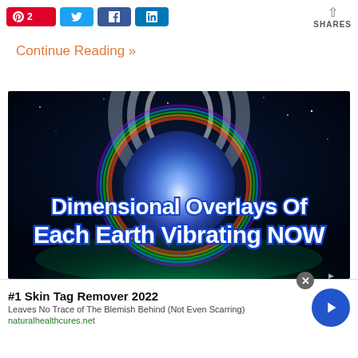[Figure (other): Social share buttons row: Pinterest (red, count 2), Twitter (blue), Facebook (blue), LinkedIn (blue), and SHARES label on right]
Continue Reading »
[Figure (illustration): Cosmic image with glowing planet/sphere and text overlay: 'Dimensional Overlays Of Each Earth Vibrating NOW' in bold blue/white outlined letters on dark space background with green glow at bottom]
#1 Skin Tag Remover 2022
Leaves No Trace of The Blemish Behind (Not Even Scarring)
naturalhealthcures.net